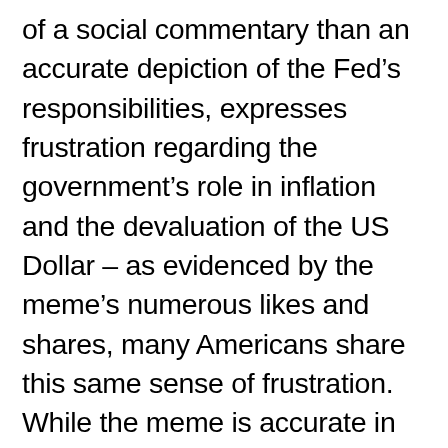of a social commentary than an accurate depiction of the Fed's responsibilities, expresses frustration regarding the government's role in inflation and the devaluation of the US Dollar – as evidenced by the meme's numerous likes and shares, many Americans share this same sense of frustration. While the meme is accurate in many ways, it unintentionally brings to light the